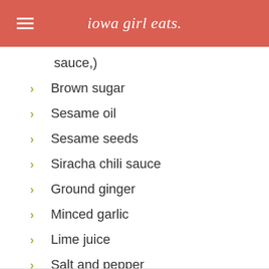iowa girl eats.
sauce,)
Brown sugar
Sesame oil
Sesame seeds
Siracha chili sauce
Ground ginger
Minced garlic
Lime juice
Salt and pepper